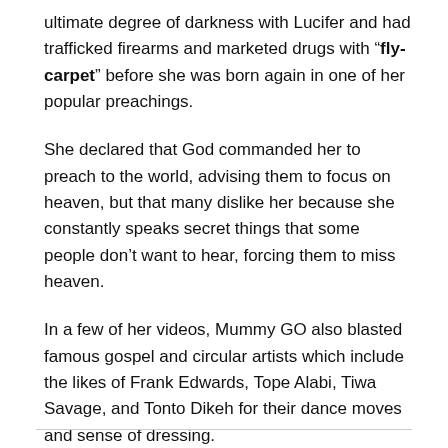ultimate degree of darkness with Lucifer and had trafficked firearms and marketed drugs with “fly-carpet” before she was born again in one of her popular preachings.
She declared that God commanded her to preach to the world, advising them to focus on heaven, but that many dislike her because she constantly speaks secret things that some people don’t want to hear, forcing them to miss heaven.
In a few of her videos, Mummy GO also blasted famous gospel and circular artists which include the likes of Frank Edwards, Tope Alabi, Tiwa Savage, and Tonto Dikeh for their dance moves and sense of dressing.